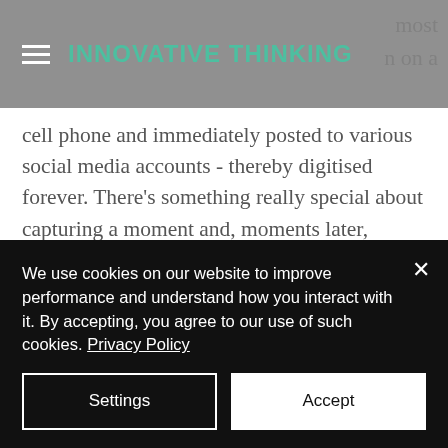INNOVATIVE THINKING
most on a cell phone and immediately posted to various social media accounts - thereby digitised forever. There's something really special about capturing a moment and, moments later, holding that joyful image in your hand. And there's a perfect spot in your wallet for that treasured holiday happy snap.
We use cookies on our website to improve performance and understand how you interact with it. By accepting, you agree to our use of such cookies. Privacy Policy
Settings
Accept